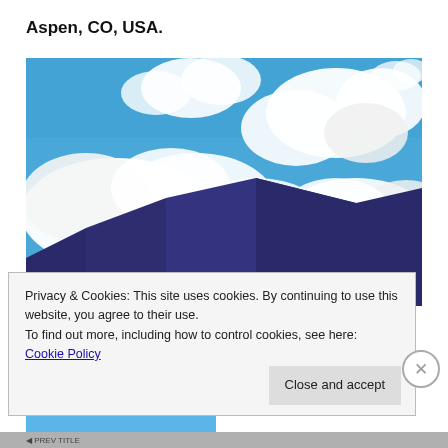Aspen, CO, USA.
[Figure (photo): Photograph of blue sky with large white cumulus clouds and dark mountain peaks visible at the bottom, taken in Aspen, CO, USA.]
Privacy & Cookies: This site uses cookies. By continuing to use this website, you agree to their use.
To find out more, including how to control cookies, see here: Cookie Policy
Close and accept